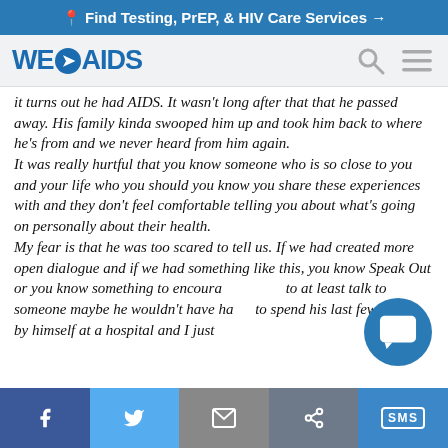📍 Find Testing, PrEP, & HIV Care Services →
[Figure (logo): WE>AIDS logo with navigation icons (search and menu)]
it turns out he had AIDS. It wasn't long after that that he passed away. His family kinda swooped him up and took him back to where he's from and we never heard from him again.
It was really hurtful that you know someone who is so close to you and your life who you should you know you share these experiences with and they don't feel comfortable telling you about what's going on personally about their health.
My fear is that he was too scared to tell us. If we had created more open dialogue and if we had something like this, you know Speak Out or you know something to encourage to at least talk to someone maybe he wouldn't have had to spend his last few weeks by himself at a hospital and I just